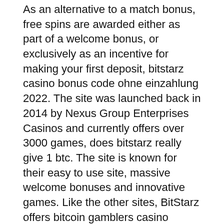As an alternative to a match bonus, free spins are awarded either as part of a welcome bonus, or exclusively as an incentive for making your first deposit, bitstarz casino bonus code ohne einzahlung 2022. The site was launched back in 2014 by Nexus Group Enterprises Casinos and currently offers over 3000 games, does bitstarz really give 1 btc. The site is known for their easy to use site, massive welcome bonuses and innovative games. Like the other sites, BitStarz offers bitcoin gamblers casino games, poker games, and some other 'specialty' games like a live dice table, but where it differs from its competition is the quantity and quality of promotions and bonuses. A section on their site explains their odds publicly and displays the code used for their games so independent testers can verify that it is fair, bitstarz casino бездепозитный бонус 2022. Y no solo eso, necesitamos que estos tengan una gran